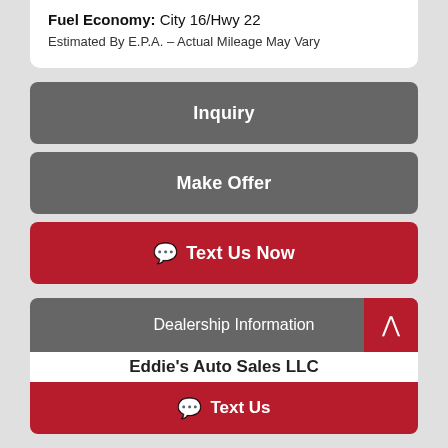Fuel Economy: City 16/Hwy 22
Estimated By E.P.A. – Actual Mileage May Vary
Inquiry
Make Offer
Text Us Now
Dealership Information
Eddie's Auto Sales LLC
Text Us